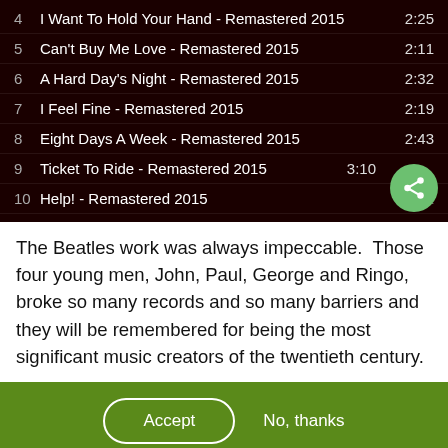4  I Want To Hold Your Hand - Remastered 2015  2:25
5  Can't Buy Me Love - Remastered 2015  2:11
6  A Hard Day's Night - Remastered 2015  2:32
7  I Feel Fine - Remastered 2015  2:19
8  Eight Days A Week - Remastered 2015  2:43
9  Ticket To Ride - Remastered 2015  3:10
10  Help! - Remastered 2015  2:...
The Beatles work was always impeccable.  Those four young men, John, Paul, George and Ringo, broke so many records and so many barriers and they will be remembered for being the most significant music creators of the twentieth century.
Accept   No, thanks
We use cookies on this site to enhance your user experience...